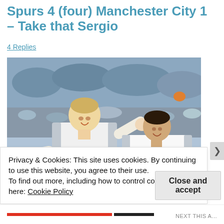Spurs 4 (four) Manchester City 1 – Take that Sergio
4 Replies
[Figure (photo): Two Tottenham Hotspur players in white AIA-sponsored jerseys celebrating a goal, arms outstretched, in a stadium with a crowd in the background.]
Privacy & Cookies: This site uses cookies. By continuing to use this website, you agree to their use.
To find out more, including how to control cookies, see here: Cookie Policy
Close and accept